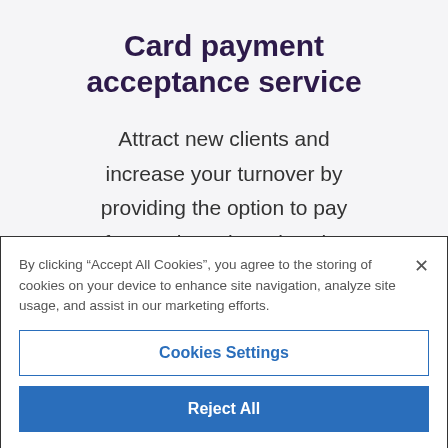Card payment acceptance service
Attract new clients and increase your turnover by providing the option to pay for goods and services by
By clicking “Accept All Cookies”, you agree to the storing of cookies on your device to enhance site navigation, analyze site usage, and assist in our marketing efforts.
Cookies Settings
Reject All